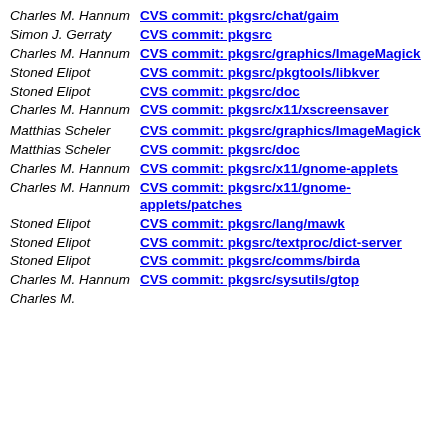Charles M. Hannum | CVS commit: pkgsrc/chat/gaim
Simon J. Gerraty | CVS commit: pkgsrc
Charles M. Hannum | CVS commit: pkgsrc/graphics/ImageMagick
Stoned Elipot | CVS commit: pkgsrc/pkgtools/libkver
Stoned Elipot | CVS commit: pkgsrc/doc
Charles M. Hannum | CVS commit: pkgsrc/x11/xscreensaver
Matthias Scheler | CVS commit: pkgsrc/graphics/ImageMagick
Matthias Scheler | CVS commit: pkgsrc/doc
Charles M. Hannum | CVS commit: pkgsrc/x11/gnome-applets
Charles M. Hannum | CVS commit: pkgsrc/x11/gnome-applets/patches
Stoned Elipot | CVS commit: pkgsrc/lang/mawk
Stoned Elipot | CVS commit: pkgsrc/textproc/dict-server
Stoned Elipot | CVS commit: pkgsrc/comms/birda
Charles M. Hannum | CVS commit: pkgsrc/sysutils/gtop
Charles M. ...